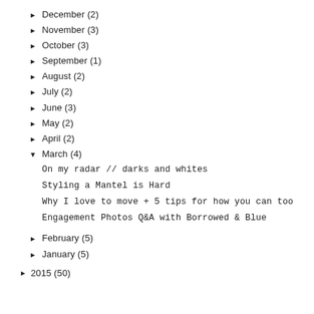December (2)
November (3)
October (3)
September (1)
August (2)
July (2)
June (3)
May (2)
April (2)
March (4)
On my radar // darks and whites
Styling a Mantel is Hard
Why I love to move + 5 tips for how you can too
Engagement Photos Q&A with Borrowed & Blue
February (5)
January (5)
2015 (50)